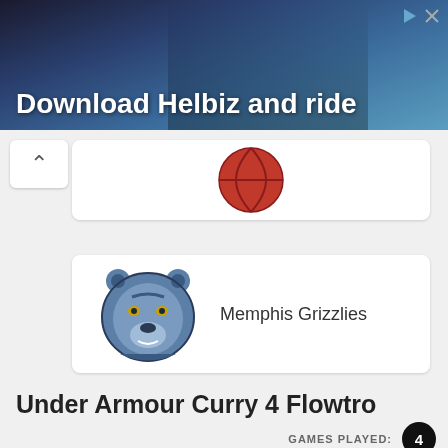[Figure (photo): Advertisement banner for Helbiz scooter app showing a person on a scooter in an urban setting]
Download Helbiz and ride
[Figure (logo): Basketball icon (partially visible card)]
[Figure (logo): Memphis Grizzlies bear logo with team name]
Memphis Grizzlies
Under Armour Curry 4 Flowtro
GAMES PLAYED: 4